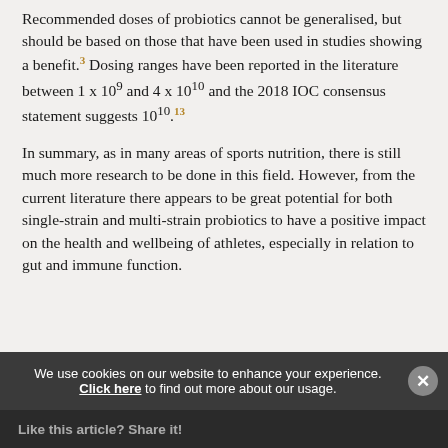Recommended doses of probiotics cannot be generalised, but should be based on those that have been used in studies showing a benefit.³ Dosing ranges have been reported in the literature between 1 x 10⁹ and 4 x 10¹⁰ and the 2018 IOC consensus statement suggests 10¹⁰.¹³
In summary, as in many areas of sports nutrition, there is still much more research to be done in this field. However, from the current literature there appears to be great potential for both single-strain and multi-strain probiotics to have a positive impact on the health and wellbeing of athletes, especially in relation to gut and immune function.
We use cookies on our website to enhance your experience. Click here to find out more about our usage.
Like this article? Share it!